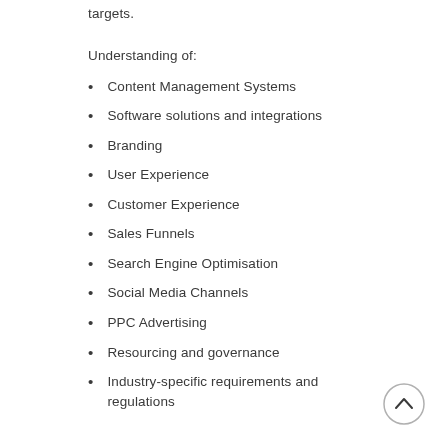targets.
Understanding of:
Content Management Systems
Software solutions and integrations
Branding
User Experience
Customer Experience
Sales Funnels
Search Engine Optimisation
Social Media Channels
PPC Advertising
Resourcing and governance
Industry-specific requirements and regulations